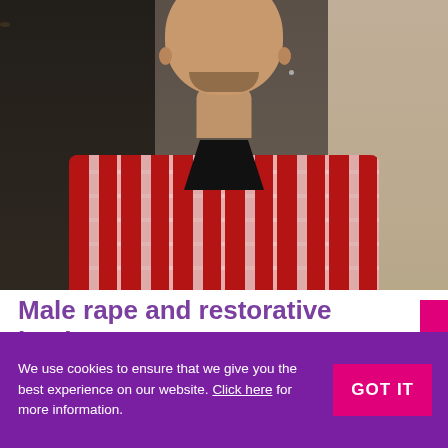[Figure (photo): Portrait photo of a young man with short hair and a beard, wearing a red plaid shirt over a black t-shirt, photographed against a dark wooden door and stone wall background.]
Male rape and restorative justice ›
We use cookies to ensure that we give you the best experience on our website. Click here for more information.
GOT IT